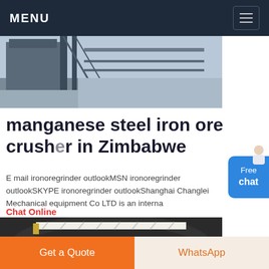MENU
[Figure (photo): Aerial/overhead view of industrial steel structure with stairs and walkways]
manganese steel iron ore crusher in Zimbabwe
E mail ironoregrinder outlookMSN ironoregrinder outlookSKYPE ironoregrinder outlookShanghai Changlei Mechanical equipment Co LTD is an interna
Chat Online
[Figure (photo): Industrial mining equipment - large circular crusher with white lattice bridge/walkway structure]
Get a Quote
WhatsApp